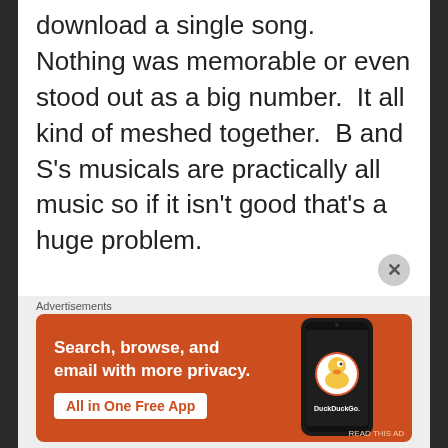download a single song.  Nothing was memorable or even stood out as a big number.  It all kind of meshed together.  B and S's musicals are practically all music so if it isn't good that's a huge problem.

As far as the script the plot and dialogue were also weak. I get it is a true story but Grace felt like a stock, predictable character. There was no break out moment like Dreamed a Dream or On My Own and
[Figure (screenshot): DuckDuckGo advertisement banner: orange background with white text 'Search, browse, and email with more privacy.' and a button 'All in One Free App', alongside a phone graphic showing the DuckDuckGo logo and name.]